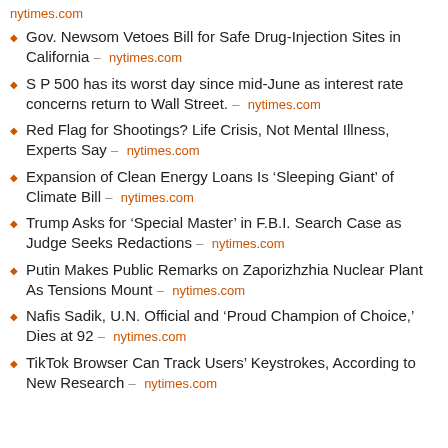nytimes.com
Gov. Newsom Vetoes Bill for Safe Drug-Injection Sites in California – nytimes.com
S P 500 has its worst day since mid-June as interest rate concerns return to Wall Street. – nytimes.com
Red Flag for Shootings? Life Crisis, Not Mental Illness, Experts Say – nytimes.com
Expansion of Clean Energy Loans Is 'Sleeping Giant' of Climate Bill – nytimes.com
Trump Asks for 'Special Master' in F.B.I. Search Case as Judge Seeks Redactions – nytimes.com
Putin Makes Public Remarks on Zaporizhzhia Nuclear Plant As Tensions Mount – nytimes.com
Nafis Sadik, U.N. Official and 'Proud Champion of Choice,' Dies at 92 – nytimes.com
TikTok Browser Can Track Users' Keystrokes, According to New Research – nytimes.com